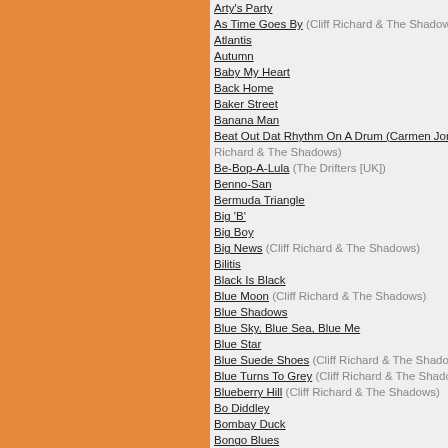[Figure (illustration): Orange rectangular panel on left side of page]
Arty's Party
As Time Goes By (Cliff Richard & The Shadows)
Atlantis
Autumn
Baby My Heart
Back Home
Baker Street
Banana Man
Beat Out Dat Rhythm On A Drum (Carmen Jones) Richard & The Shadows)
Be-Bop-A-Lula (The Drifters [UK])
Benno-San
Bermuda Triangle
Big 'B'
Big Boy
Big News (Cliff Richard & The Shadows)
Bilitis
Black Is Black
Blue Moon (Cliff Richard & The Shadows)
Blue Shadows
Blue Sky, Blue Sea, Blue Me
Blue Star
Blue Suede Shoes (Cliff Richard & The Shadows)
Blue Turns To Grey (Cliff Richard & The Shadows)
Blueberry Hill (Cliff Richard & The Shadows)
Bo Diddley
Bombay Duck
Bongo Blues
Bony Moronie
Boogatoo
Bop - Alena
Bossa Roo
Boum (Cliff Richard & The Shadows)
Brazil
Break Another Dawn
Breakthru'
Bridge Over Troubled Water
Bright Eyes